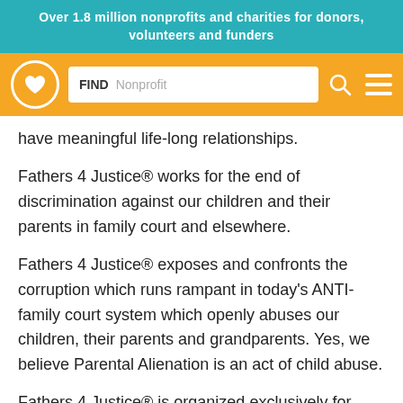Over 1.8 million nonprofits and charities for donors, volunteers and funders
[Figure (screenshot): Website navigation bar with GuideStar/Candid logo (circle with heart icon), a search box labeled FIND with placeholder text 'Nonprofit', a search icon, and a hamburger menu icon, all on an orange background.]
have meaningful life-long relationships.
Fathers 4 Justice® works for the end of discrimination against our children and their parents in family court and elsewhere.
Fathers 4 Justice® exposes and confronts the corruption which runs rampant in today's ANTI-family court system which openly abuses our children, their parents and grandparents. Yes, we believe Parental Alienation is an act of child abuse.
Fathers 4 Justice® is organized exclusively for charitable and educational purposes and the